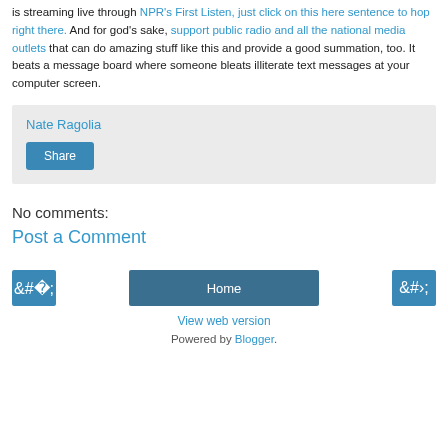is streaming live through NPR's First Listen, just click on this here sentence to hop right there. And for god's sake, support public radio and all the national media outlets that can do amazing stuff like this and provide a good summation, too. It beats a message board where someone bleats illiterate text messages at your computer screen.
Nate Ragolia
Share
No comments:
Post a Comment
‹
Home
›
View web version
Powered by Blogger.